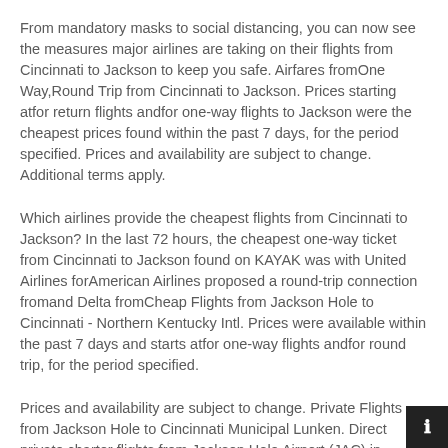From mandatory masks to social distancing, you can now see the measures major airlines are taking on their flights from Cincinnati to Jackson to keep you safe. Airfares fromOne Way,Round Trip from Cincinnati to Jackson. Prices starting atfor return flights andfor one-way flights to Jackson were the cheapest prices found within the past 7 days, for the period specified. Prices and availability are subject to change. Additional terms apply.
Which airlines provide the cheapest flights from Cincinnati to Jackson? In the last 72 hours, the cheapest one-way ticket from Cincinnati to Jackson found on KAYAK was with United Airlines forAmerican Airlines proposed a round-trip connection fromand Delta fromCheap Flights from Jackson Hole to Cincinnati - Northern Kentucky Intl. Prices were available within the past 7 days and starts atfor one-way flights andfor round trip, for the period specified.
Prices and availability are subject to change. Private Flights from Jackson Hole to Cincinnati Municipal Lunken. Direct private charter flights from Jackson Hole Airport (JAC) in Jackson, W